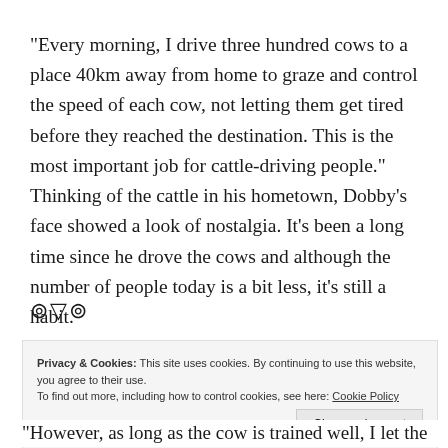“Every morning, I drive three hundred cows to a place 40km away from home to graze and control the speed of each cow, not letting them get tired before they reached the destination. This is the most important job for cattle-driving people.” Thinking of the cattle in his hometown, Dobby’s face showed a look of nostalgia. It’s been a long time since he drove the cows and although the number of people today is a bit less, it’s still a habit.
⧉▽⧉
Privacy & Cookies: This site uses cookies. By continuing to use this website, you agree to their use.
To find out more, including how to control cookies, see here: Cookie Policy
Close and accept
“However, as long as the cow is trained well, I let the